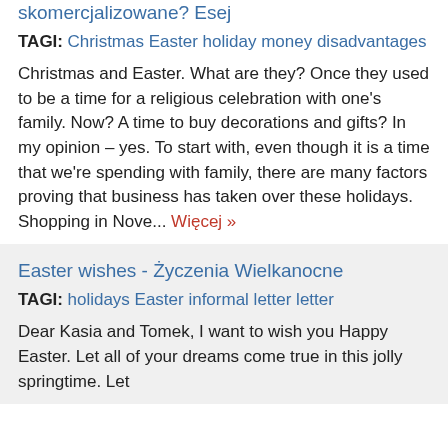skomercjalizowane? Esej
TAGI: Christmas Easter holiday money disadvantages
Christmas and Easter. What are they? Once they used to be a time for a religious celebration with one's family. Now? A time to buy decorations and gifts? In my opinion – yes. To start with, even though it is a time that we're spending with family, there are many factors proving that business has taken over these holidays. Shopping in Nove... Więcej »
Easter wishes - Życzenia Wielkanocne
TAGI: holidays Easter informal letter letter
Dear Kasia and Tomek, I want to wish you Happy Easter. Let all of your dreams come true in this jolly springtime. Let